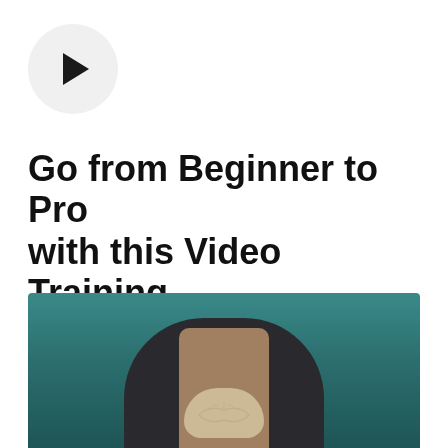[Figure (illustration): Circular play button icon with a dark triangle on a light gray background]
Go from Beginner to Pro with this Video Training
Nam ut rutrum ex, venenatis sollicitudin urna. Aliquam erat volutpat.
[Figure (photo): A person in a dark jacket holding a brain model against a teal/dark green background, cropped from mid-torso]